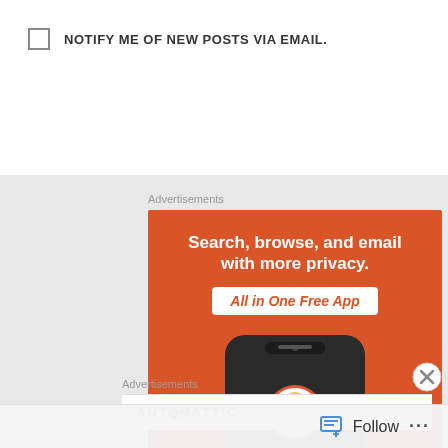NOTIFY ME OF NEW POSTS VIA EMAIL.
Advertisements
[Figure (illustration): DuckDuckGo advertisement banner with orange background. Text reads: 'Search, browse, and email with more privacy. All in One Free App'. Shows a phone with DuckDuckGo logo and branding.]
Advertisements
AUTOMATTIC
Follow